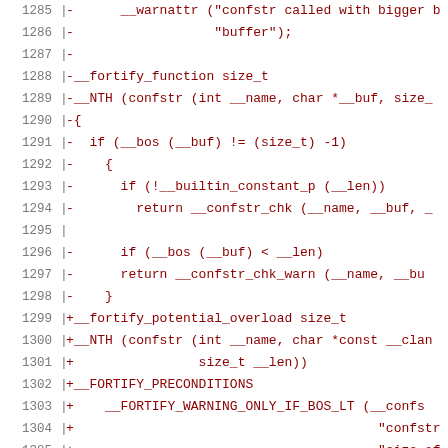[Figure (screenshot): Code diff snippet showing lines 1285-1306 with removed lines (prefixed with -) in dark red and added lines (prefixed with +) in dark red on white background, monospace font. Lines 1285-1298 show removed C code for __fortify_function confstr buffer checks, and lines 1299-1306 show added __fortify_potential_overload and __FORTIFY_PRECONDITIONS replacements.]